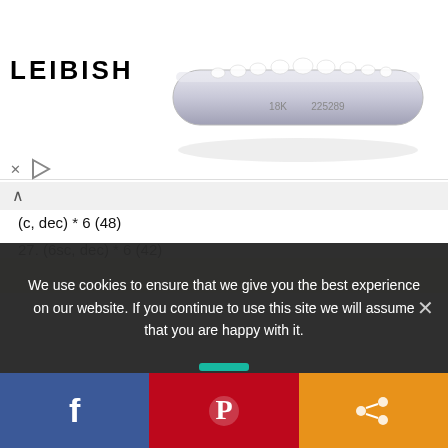[Figure (photo): Advertisement banner showing LEIBISH logo on left and a diamond ring photo on right, with X and play controls below logo]
(c, dec) * 6 (48)
27. (6sc, dec) * 6 (42)
28. (5sc, dec) * 6 (36)
29. (4sc, dec) * 6 (30)
30. (3sc, dec) * 6 (24)
31. (2sc, dec) * 6 (18) Fill the head.
32. (sc, dec) * 6 (12)
33. 6dec Before filling, tighten the hole, fasten the thread and crop.
We use cookies to ensure that we give you the best experience on our website. If you continue to use this site we will assume that you are happy with it.